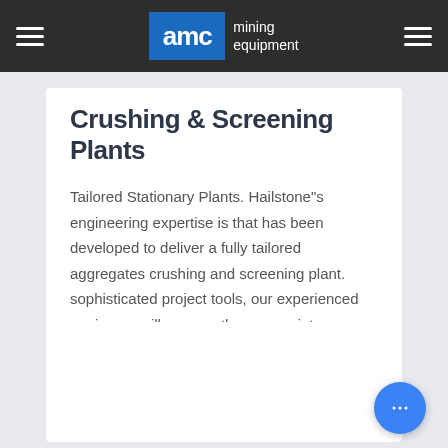AMC mining equipment
Crushing & Screening Plants
Tailored Stationary Plants. Hailstone"s engineering expertise is that has been developed to deliver a fully tailored aggregates crushing and screening plant. sophisticated project tools, our experienced engineers will arrange the appropriate equipment into a balanced system to provide you with the... high-quality end-products you require, at the
[Figure (other): Empty white card section at the bottom of the page]